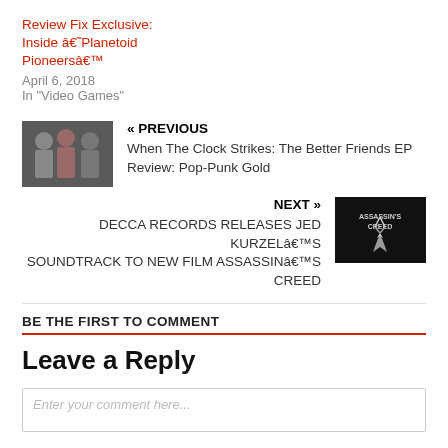Review Fix Exclusive: Inside â€˜Planetoid Pioneersâ€™
April 6, 2018
In "Video Games"
[Figure (photo): Photo of three men (band members) standing together against a light background]
« PREVIOUS
When The Clock Strikes: The Better Friends EP Review: Pop-Punk Gold
NEXT »
DECCA RECORDS RELEASES JED KURZELâ€™S SOUNDTRACK TO NEW FILM ASSASSINâ€™S CREED
[Figure (photo): Dark image with Assassin's Creed logo/text on black background]
BE THE FIRST TO COMMENT
Leave a Reply